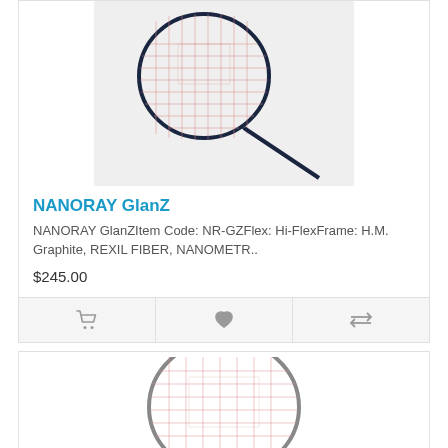[Figure (photo): Yonex NANORAY GlanZ badminton racket on light grey background, showing the racket head with pink/salmon colored strings and dark navy frame.]
NANORAY GlanZ
NANORAY GlanZItem Code: NR-GZFlex: Hi-FlexFrame: H.M. Graphite, REXIL FIBER, NANOMETR..
$245.00
[Figure (photo): Second Yonex badminton racket (partial view), showing racket head with pink strings and grey/silver frame, cropped at bottom of page.]